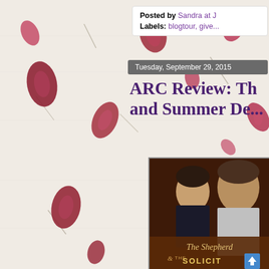[Figure (illustration): Left half background: white textured paper with scattered dried rose petals and stems, pink and dark red petals arranged randomly]
Posted by Sandra at J
Labels: blogtour, give...
Tuesday, September 29, 2015
ARC Review: The and Summer De...
[Figure (photo): Book cover image showing two young men in period clothing against a dark background, with the title 'The Shepherd & The Solicitor' in ornate script at the bottom]